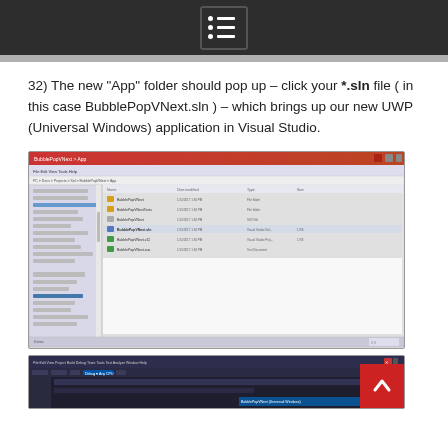32) The new “App” folder should pop up – click your *.sln file ( in this case BubblePopVNext.sln ) – which brings up our new UWP (Universal Windows) application in Visual Studio.
[Figure (screenshot): Windows File Explorer showing the App folder with BubblePopVNext solution files listed]
[Figure (screenshot): Visual Studio IDE opening with the BubblePopVNext UWP project]